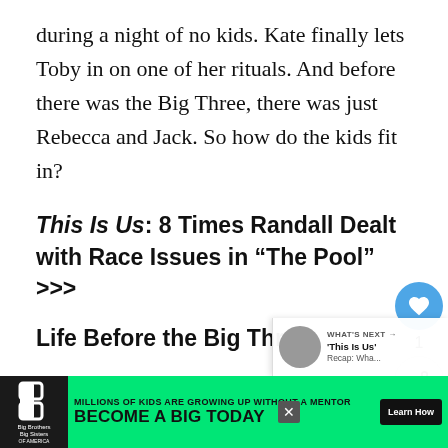during a night of no kids. Kate finally lets Toby in on one of her rituals. And before there was the Big Three, there was just Rebecca and Jack. So how do the kids fit in?
This Is Us: 8 Times Randall Dealt with Race Issues in “The Pool” >>>
Life Before the Big Three
Rebecca and Jack are loving being married with no kids. They can drink whenever we want it.